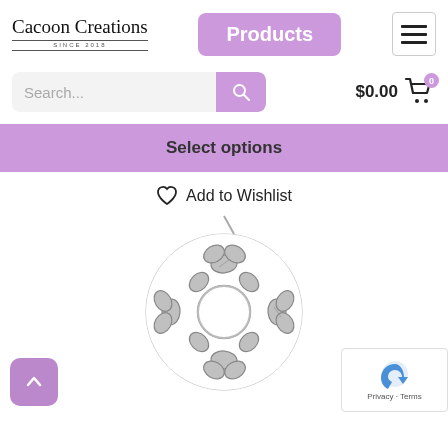[Figure (logo): Cacoon Creations cursive logo with 'SINCE 2018' underline text]
Products
[Figure (screenshot): Hamburger menu icon (three horizontal lines) in a bordered box]
[Figure (screenshot): Search bar with purple search button and $0.00 cart icon with badge]
Select options
Add to Wishlist
[Figure (photo): Silver snowflake-shaped pendant/charm with leaf motifs and circular center, on white background]
[Figure (screenshot): Purple scroll-up arrow button]
[Figure (screenshot): reCAPTCHA widget showing Google logo and Privacy/Terms links]